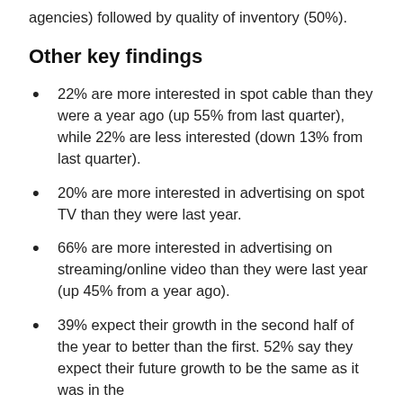agencies) followed by quality of inventory (50%).
Other key findings
22% are more interested in spot cable than they were a year ago (up 55% from last quarter), while 22% are less interested (down 13% from last quarter).
20% are more interested in advertising on spot TV than they were last year.
66% are more interested in advertising on streaming/online video than they were last year (up 45% from a year ago).
39% expect their growth in the second half of the year to better than the first. 52% say they expect their future growth to be the same as it was in the